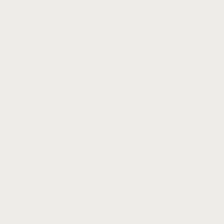it
wa:
all
ma
anc
anc
anc

All
are
nov
saf
gat
in
anc
set
into
a
rou
anc
I
nov
hav
a